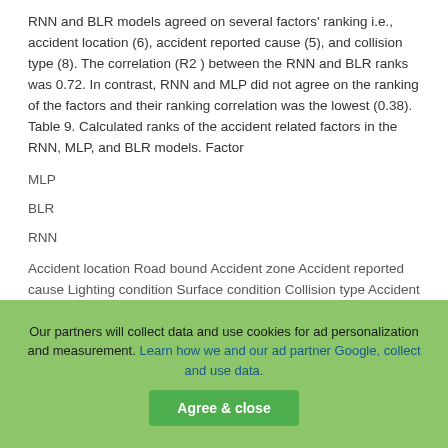RNN and BLR models agreed on several factors' ranking i.e., accident location (6), accident reported cause (5), and collision type (8). The correlation (R2) between the RNN and BLR ranks was 0.72. In contrast, RNN and MLP did not agree on the ranking of the factors and their ranking correlation was the lowest (0.38). Table 9. Calculated ranks of the accident related factors in the RNN, MLP, and BLR models. Factor
MLP
BLR
RNN
Accident location Road bound Accident zone Accident reported cause Lighting condition Surface condition Collision type Accident time Vehicle type
2 8 5 3 4 9 6 7 1
Our partners will collect data and use cookies for ad personalization and measurement. Learn how we and our ad partner Google, collect and use data.
Agree & close